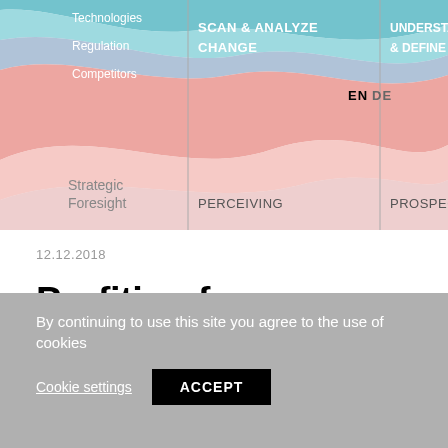[Figure (infographic): Wavy ribbon/stream chart showing Strategic Foresight process stages including labels: Technologies, Regulation, Competitors on left; SCAN & ANALYZE CHANGE in center; UNDERSTAND & DEFINE ACT on right; column labels: Strategic Foresight, PERCEIVING, PROSPEC(TING). Two vertical lines divide sections. EN/DE language toggle overlaid top right.]
12.12.2018
Profiting from Strategic Foresight
By continuing to use this site you agree to the use of cookies
Cookie settings
ACCEPT